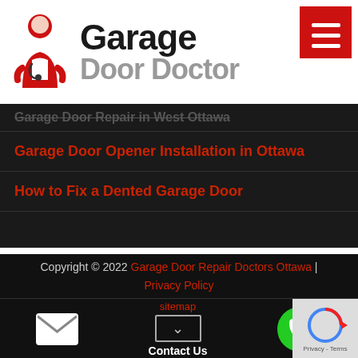[Figure (logo): Garage Door Doctor logo with red doctor figure icon and text 'Garage' in black bold and 'Door Doctor' in gray bold, plus red hamburger menu button top right]
Garage Door Repair in West Ottawa
Garage Door Opener Installation in Ottawa
How to Fix a Dented Garage Door
Copyright © 2022 Garage Door Repair Doctors Ottawa | Privacy Policy
sitemap
Contact Us